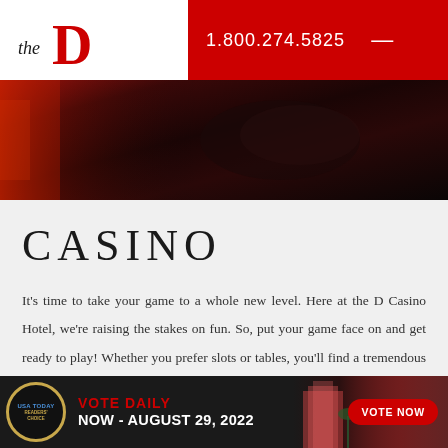[Figure (logo): The D Las Vegas hotel logo: 'the D' text with large red D letter and 'LAS VEGAS' text vertically on the right side]
1.800.274.5825
[Figure (photo): Close-up photo of red and black leather or fabric, casino seating decor in dark tones]
CASINO
It's time to take your game to a whole new level. Here at the D Casino Hotel, we're raising the stakes on fun. So, put your game face on and get ready to play! Whether you prefer slots or tables, you'll find a tremendous selection of your favorite games. Our casino floor is filled with slots, table games and some exclusive
[Figure (infographic): Bottom banner: USA Today Readers' Choice badge, red text 'VOTE DAILY', white text 'NOW - AUGUST 29, 2022', red 'VOTE NOW' button, background hotel image]